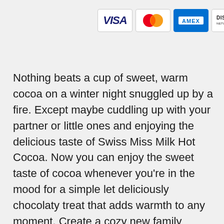[Figure (logo): Four credit card logos in a row: Visa, MasterCard, American Express (AMEX), and Discover Network]
Nothing beats a cup of sweet, warm cocoa on a winter night snuggled up by a fire. Except maybe cuddling up with your partner or little ones and enjoying the delicious taste of Swiss Miss Milk Hot Cocoa. Now you can enjoy the sweet taste of cocoa whenever you're in the mood for a simple let deliciously chocolaty treat that adds warmth to any moment. Create a cozy new family tradition, continue an existing one or simply enjoy a quiet moment alone when you wrap your hands around a warm mug of Swiss Miss Milk Hot Cocoa. Swiss Miss has been creating the signature taste of hot chocolate since 1961 in a real dairy in Menomonie, Wisconsin. To this